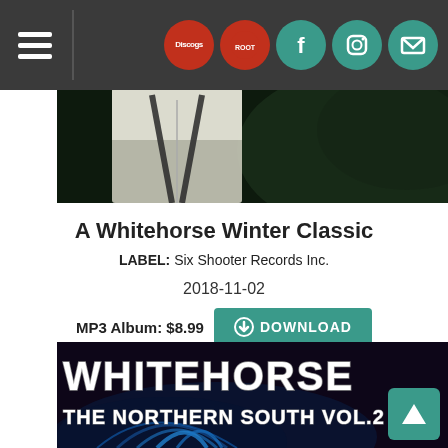Navigation bar with hamburger menu and social icons (Discogs, Facebook, Instagram, Email)
[Figure (photo): Partial photo of a person in a white shirt against a dark green background]
A Whitehorse Winter Classic
LABEL: Six Shooter Records Inc.
2018-11-02
MP3 Album: $8.99 DOWNLOAD
[Figure (photo): Album art for Whitehorse - The Northern South Vol.2, white bold text over dark background with peacock feather]